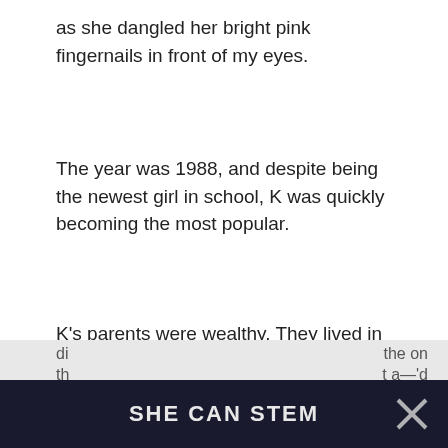as she dangled her bright pink fingernails in front of my eyes.
The year was 1988, and despite being the newest girl in school, K was quickly becoming the most popular.
K's parents were wealthy. They lived in a giant house in the swankiest neighborhood. K had a dedicated bathroom all to herself and a walk-in closet filled with designer clothes.
My parents didn't have as much money as K's
SHE CAN STEM